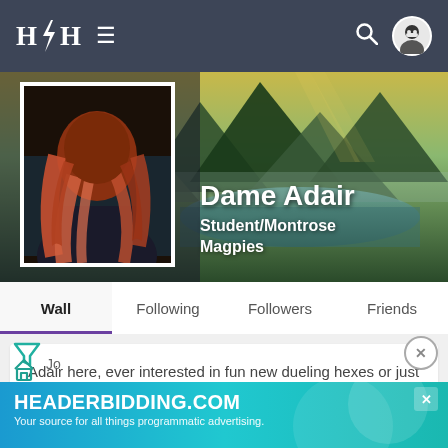H⚡H  ≡
[Figure (photo): Profile banner with a red-haired person from behind on left, scenic mountain lake landscape on right. Profile name Dame Adair, subtitle Student/Montrose Magpies]
Dame Adair
Student/Montrose Magpies
Wall  Following  Followers  Friends
Adair here, ever interested in fun new dueling hexes or just want to talk about the most recent Quidditch game, reach out!
Jo
[Figure (screenshot): Advertisement banner: HEADERBIDDING.COM — Your source for all things programmatic advertising.]